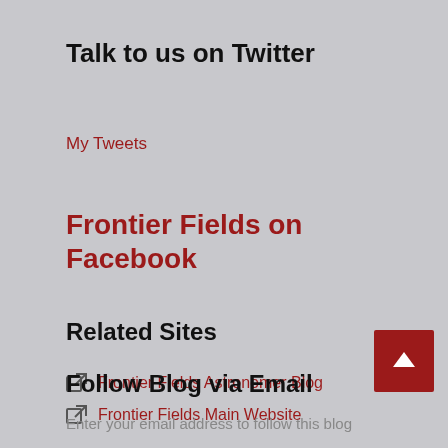Talk to us on Twitter
My Tweets
Frontier Fields on Facebook
Related Sites
Frontier Fields Astronomer Blog
Frontier Fields Main Website
Follow Blog via Email
Enter your email address to follow this blog